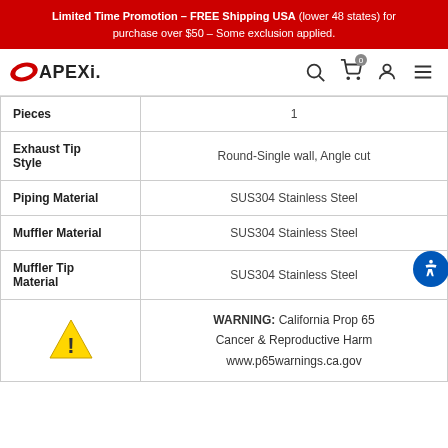Limited Time Promotion - FREE Shipping USA (lower 48 states) for purchase over $50 - Some exclusion applied.
[Figure (logo): APEXi logo with navigation icons (search, cart with 0 badge, user, hamburger menu)]
| Pieces | 1 |
| Exhaust Tip Style | Round-Single wall, Angle cut |
| Piping Material | SUS304 Stainless Steel |
| Muffler Material | SUS304 Stainless Steel |
| Muffler Tip Material | SUS304 Stainless Steel |
| [warning icon] | WARNING: California Prop 65 Cancer & Reproductive Harm www.p65warnings.ca.gov |